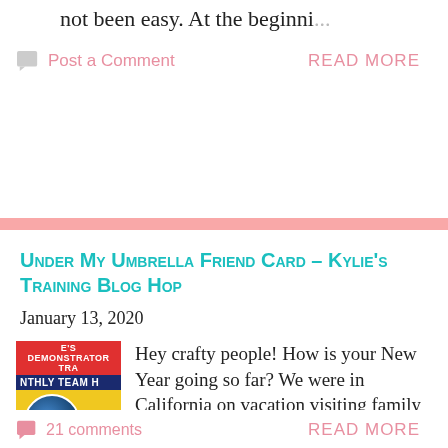not been easy. At the beginni...
Post a Comment
READ MORE
Under My Umbrella Friend Card – Kylie's Training Blog Hop
January 13, 2020
[Figure (photo): Thumbnail image showing a demonstrator training team blog hop banner with a blue circular design on yellow background]
Hey crafty people! How is your New Year going so far? We were in California on vacation visiting family as we do every year. Then the next...
21 comments
READ MORE